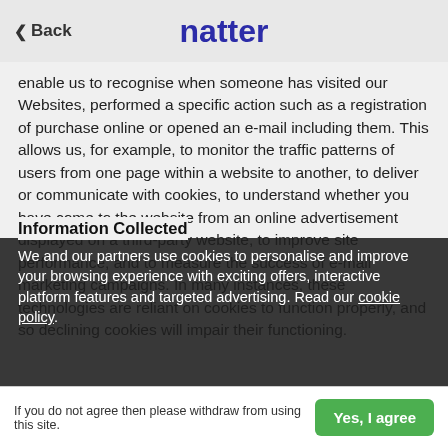Back | natter
enable us to recognise when someone has visited our Websites, performed a specific action such as a registration of purchase online or opened an e-mail including them. This allows us, for example, to monitor the traffic patterns of users from one page within a website to another, to deliver or communicate with cookies, to understand whether you have come to the website from an online advertisement displayed on a third-party website, to improve site performance, and to measure the success of e-mail marketing campaigns. In many instances, these technologies are reliant on cookies to function properly, and so declining cookies will impair their functioning.
Information Collected
We and our partners use cookies to personalise and improve your browsing experience with exciting offers, interactive platform features and targeted advertising. Read our cookie policy.
If you do not agree then please withdraw from using this site.